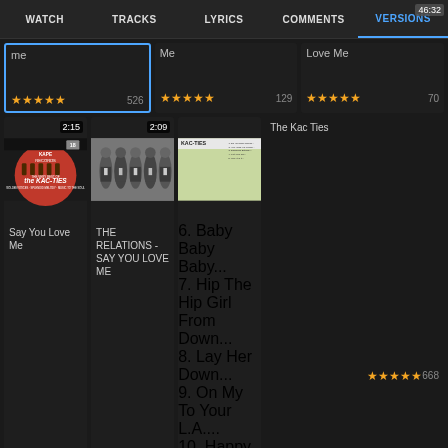WATCH | TRACKS | LYRICS | COMMENTS | VERSIONS
[Figure (screenshot): Top row of music version cards (partially visible): card 1 'me' with 5 stars and count 526 (selected/highlighted); card 2 'Me' with 5 stars and count 129; card 3 'Love Me' with 5 stars and count 70]
[Figure (screenshot): Second row: Card 1 - Say You Love Me, thumbnail shows Kape Records/Kac-Ties album art, duration 2:15, 5 stars, count 333; Card 2 - THE RELATIONS - SAY YOU LOVE ME, black and white band photo, duration 2:09, 5 stars, count 4K; Card 3 - The Kac Ties, album cover KAC-TIES Greatest Hits, duration 46:32, 5 stars, count 668]
MORE VIDEOS
© SonicHits   Find Lyrics | About | Privacy